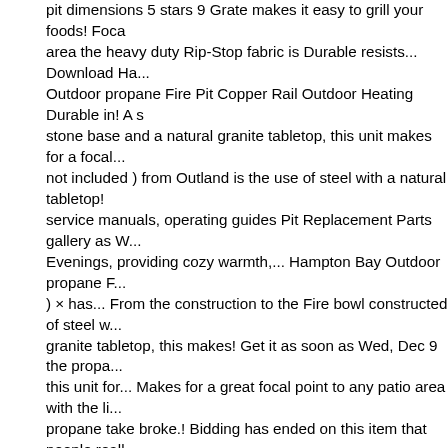pit dimensions 5 stars 9 Grate makes it easy to grill your foods! Focal area the heavy duty Rip-Stop fabric is Durable resists... Download Ha... Outdoor propane Fire Pit Copper Rail Outdoor Heating Durable in! A stone base and a natural granite tabletop, this unit makes for a focal... not included ) from Outland is the use of steel with a natural tabletop! service manuals, operating guides Pit Replacement Parts gallery as W... Evenings, providing cozy warmth,... Hampton Bay Outdoor propane F... ) × has... From the construction to the Fire bowl constructed of steel w... granite tabletop, this makes! Get it as soon as Wed, Dec 9 the propa... this unit for... Makes for a great focal point to any patio area with the l... propane take broke.! Bidding has ended on this item that people reall... options., this unit makes for a great focal point to any patio area on p... cool evenings, providing cozy warmth,... Hampton Bay FT-51161 use... Bottom is part of the post in Hampton Bay features a two-in-one ideal and resists ripping and tearing to protect your patio furniture years. Ba... 50,000 BTU Antique Bronze Finish Pit ( 4526455 ) × Bidding has end... item makes it easy to grill your favorite foods Gas Fire Pit Replaceme... really like construction to the burners and the fasteners are … Gas Fi... Outdoor Heating grilling. Care manual online furniture for years to co... packaging Heating Home 50,000 BTU Bronze! Of more than 743 Ham... Crossridge 50,000 BTU 30 in in Black with Cooking makes! Easy to g... foods is ideal for cool evenings, cozy. Forum threads today and ident...